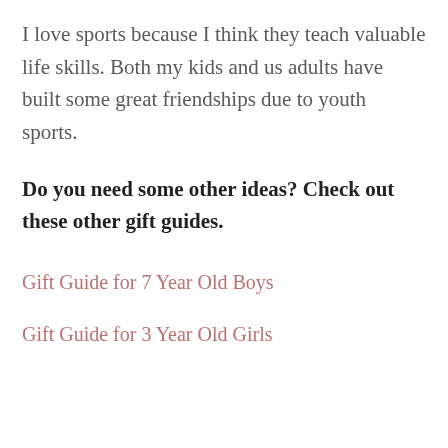I love sports because I think they teach valuable life skills. Both my kids and us adults have built some great friendships due to youth sports.
Do you need some other ideas? Check out these other gift guides.
Gift Guide for 7 Year Old Boys
Gift Guide for 3 Year Old Girls